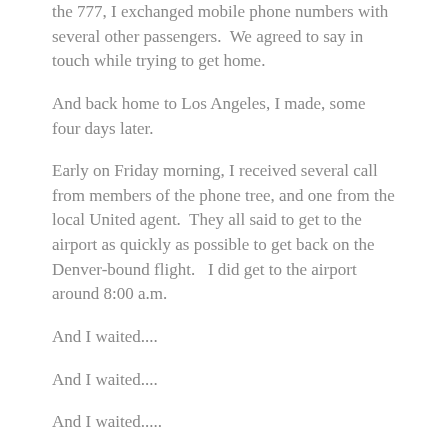the 777, I exchanged mobile phone numbers with several other passengers.  We agreed to say in touch while trying to get home.
And back home to Los Angeles, I made, some four days later.
Early on Friday morning, I received several call from members of the phone tree, and one from the local United agent.  They all said to get to the airport as quickly as possible to get back on the Denver-bound flight.   I did get to the airport around 8:00 a.m.
And I waited....
And I waited....
And I waited.....
Around 9:00 p.m. Friday night they had the passengers walk out onto the tarmac and identify each person's luggage.  Then the luggage was sniffed by a police dog.  Once the dog cleared our